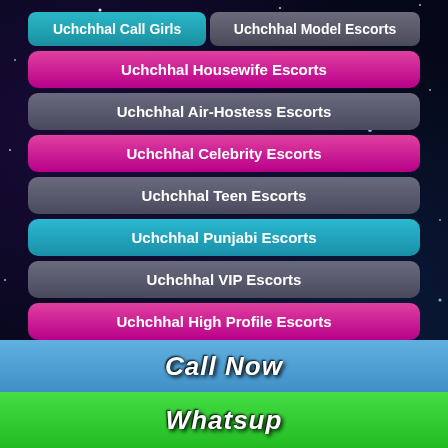Uchchhal Call Girls
Uchchhal Model Escorts
Uchchhal Housewife Escorts
Uchchhal Air-Hostess Escorts
Uchchhal Celebrity Escorts
Uchchhal Teen Escorts
Uchchhal Punjabi Escorts
Uchchhal VIP Escorts
Uchchhal High Profile Escorts
Uchchhal South Indian Escorts
Uchchhal Kashmir Escorts
Uchchhal Collage Girls Escorts
Call Now
Whatsup